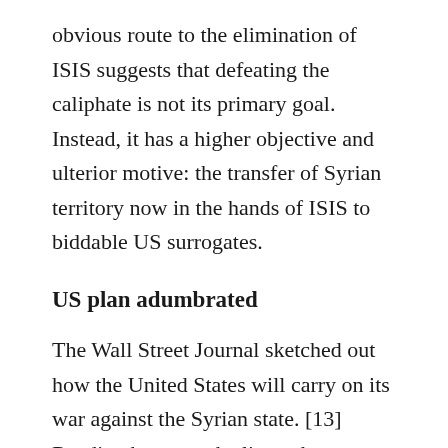obvious route to the elimination of ISIS suggests that defeating the caliphate is not its primary goal. Instead, it has a higher objective and ulterior motive: the transfer of Syrian territory now in the hands of ISIS to biddable US surrogates.
US plan adumbrated
The Wall Street Journal sketched out how the United States will carry on its war against the Syrian state. [13] Reading between the lines, the war will be pursued under the guise of eliminating ISIS, and while this will be the immediate outcome of the war if the campaign is successful, the ultimate objective will be the conquest of Syrian territory held by the caliphate. The war will be pursued on the ground by Sunni Arab fighters trained